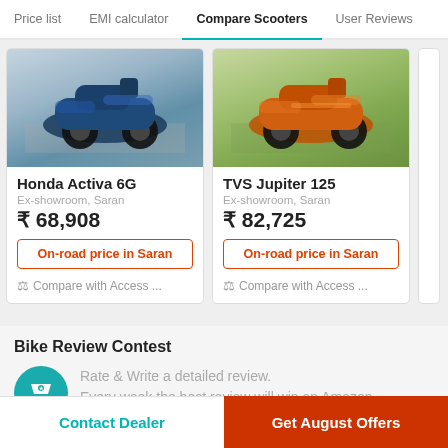Price list   EMI calculator   Compare Scooters   User Reviews
[Figure (photo): Honda Activa 6G scooter in blue color on a road background]
Honda Activa 6G
Ex-showroom, Saran
₹ 68,908
On-road price in Saran
⚖ Compare with Access ...
[Figure (photo): TVS Jupiter 125 scooter in orange color on a green background]
TVS Jupiter 125
Ex-showroom, Saran
₹ 82,725
On-road price in Saran
⚖ Compare with Access ...
Bike Review Contest
Rate & Write a detailed review. Every week the best review will win an Amazon
Contact Dealer
Get August Offers